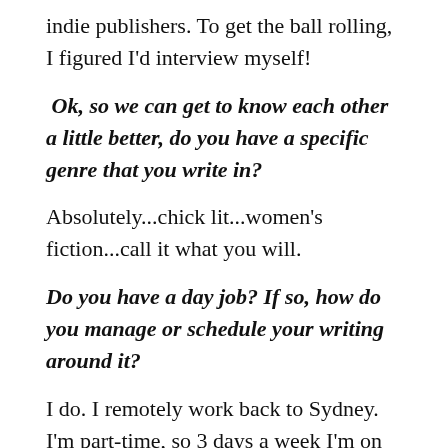indie publishers. To get the ball rolling, I figured I'd interview myself!
Ok, so we can get to know each other a little better, do you have a specific genre that you write in?
Absolutely...chick lit...women's fiction...call it what you will.
Do you have a day job? If so, how do you manage or schedule your writing around it?
I do. I remotely work back to Sydney. I'm part-time, so 3 days a week I'm on spread-sheets and